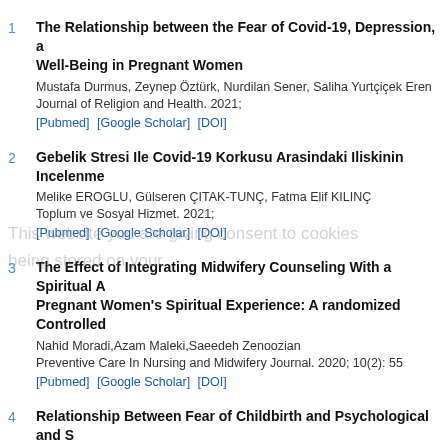1. The Relationship between the Fear of Covid-19, Depression, and Well-Being in Pregnant Women
Mustafa Durmus, Zeynep Öztürk, Nurdilan Sener, Saliha Yurtçiçek Eren
Journal of Religion and Health. 2021;
[Pubmed] [Google Scholar] [DOI]
2. Gebelik Stresi Ile Covid-19 Korkusu Arasindaki Iliskinin Incelenmesi...
Melike EROGLU, Gülseren ÇITAK-TUNÇ, Fatma Elif KILINÇ
Toplum ve Sosyal Hizmet. 2021;
[Pubmed] [Google Scholar] [DOI]
3. The Effect of Integrating Midwifery Counseling With a Spiritual Approach on Pregnant Women's Spiritual Experience: A randomized Controlled...
Nahid Moradi,Azam Maleki,Saeedeh Zenoozian
Preventive Care In Nursing and Midwifery Journal. 2020; 10(2): 55
[Pubmed] [Google Scholar] [DOI]
4. Relationship Between Fear of Childbirth and Psychological and Spiritual Well-Being in Pregnant Women
Gamze Bilgiç,Nevin Çitak Bilgin